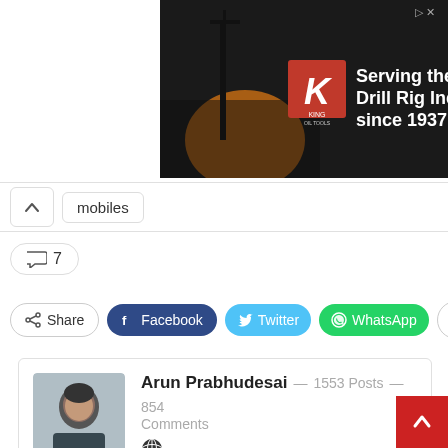[Figure (screenshot): Advertisement banner for King Oil Tools: 'Serving the Drill Rig Industry since 1937 →'. Black background with oil rig silhouette image, King logo in red.]
mobiles
💬 7
Share   f Facebook   Twitter   WhatsApp   +
Arun Prabhudesai — 1553 Posts — 854 Comments
Arun Prabhudesai is founder / chief editor at trak.in. He jumped the Entrepreneurship bandwagon in early 2008 after a long 13 year stint in I.T Industry. You can follow him on